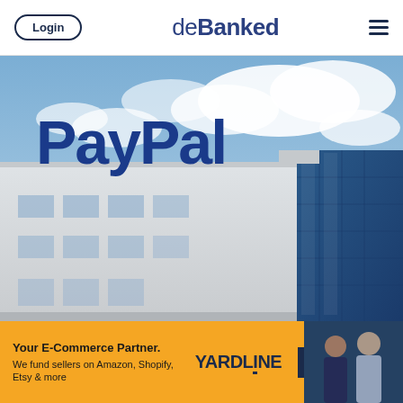Login | deBanked
[Figure (photo): PayPal building exterior with large blue PayPal logo on white office building facade, blue sky with clouds in background]
Your E-Commerce Partner. We fund sellers on Amazon, Shopify, Etsy & more
YARDLINE
Get Started →